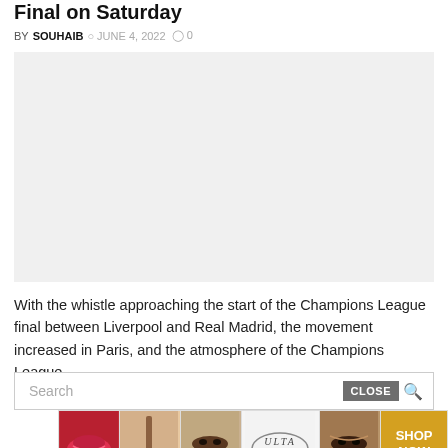Final on Saturday
BY SOUHAIB  ⊙ JUNE 4, 2022  ⌂ 0
[Figure (photo): Large image placeholder with light gray background, likely a photo related to the Champions League final.]
With the whistle approaching the start of the Champions League final between Liverpool and Real Madrid, the movement increased in Paris, and the atmosphere of the Champions League...
Search  CLOSE
[Figure (photo): Ulta Beauty advertisement banner featuring makeup and beauty product images with 'SHOP NOW' call to action.]